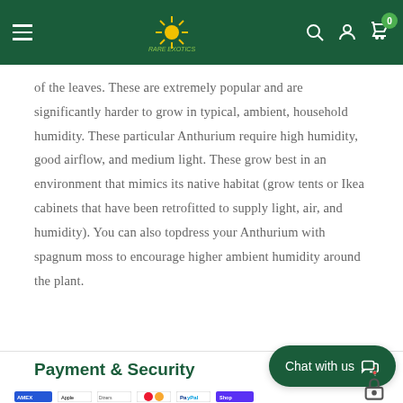Navigation bar with menu, logo, search, account, and cart icons
of the leaves. These are extremely popular and are significantly harder to grow in typical, ambient, household humidity. These particular Anthurium require high humidity, good airflow, and medium light. These grow best in an environment that mimics its native habitat (grow tents or Ikea cabinets that have been retrofitted to supply light, air, and humidity). You can also topdress your Anthurium with spagnum moss to encourage higher ambient humidity around the plant.
Payment & Security